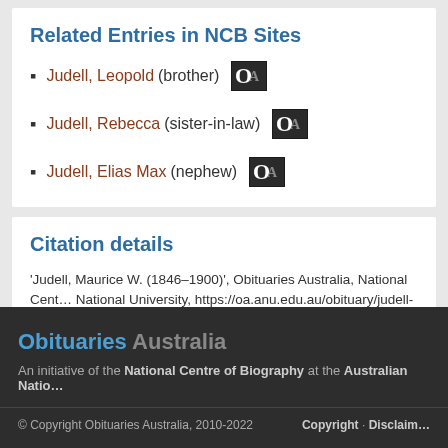Related Entries in NCB Sites
Judell, Leopold (brother)
Judell, Rebecca (sister-in-law)
Judell, Elias Max (nephew)
Citation details
'Judell, Maurice W. (1846–1900)', Obituaries Australia, National Centre of Biography at the Australian National University, https://oa.anu.edu.au/obituary/judell-maurice-w-1… September 2022.
Obituaries Australia — An initiative of the National Centre of Biography at the Australian National University — © Copyright Obituaries Australia, 2010-2022 — Copyright · Disclaimer